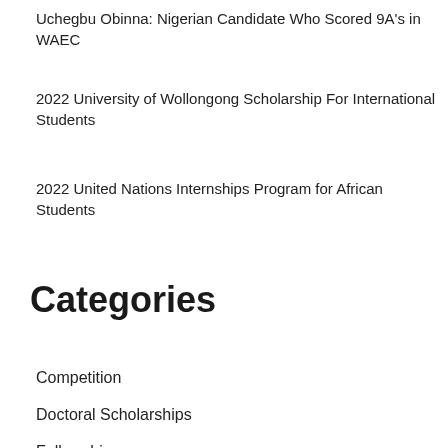Uchegbu Obinna: Nigerian Candidate Who Scored 9A's in WAEC
2022 University of Wollongong Scholarship For International Students
2022 United Nations Internships Program for African Students
Categories
Competition
Doctoral Scholarships
Fellowship